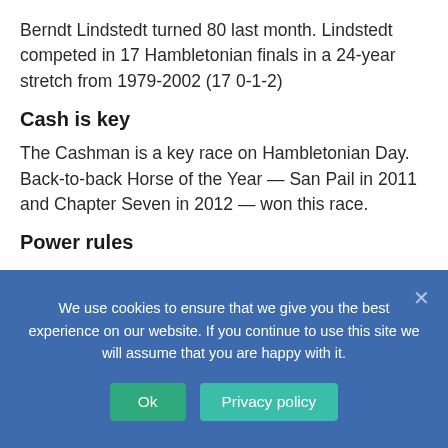Berndt Lindstedt turned 80 last month. Lindstedt competed in 17 Hambletonian finals in a 24-year stretch from 1979-2002 (17 0-1-2)
Cash is key
The Cashman is a key race on Hambletonian Day. Back-to-back Horse of the Year — San Pail in 2011 and Chapter Seven in 2012 — won this race.
Power rules
We use cookies to ensure that we give you the best experience on our website. If you continue to use this site we will assume that you are happy with it.